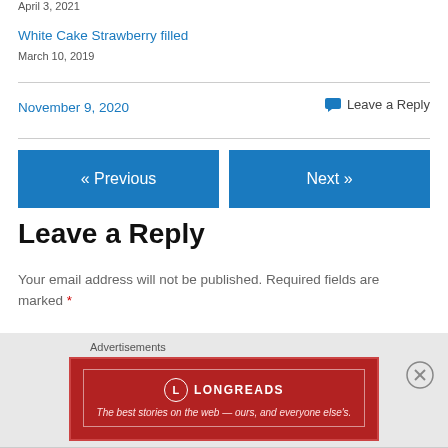April 3, 2021
White Cake Strawberry filled
March 10, 2019
November 9, 2020
💬 Leave a Reply
« Previous
Next »
Leave a Reply
Your email address will not be published. Required fields are marked *
Advertisements
[Figure (other): Longreads advertisement banner: red background with logo and tagline 'The best stories on the web — ours, and everyone else's.']